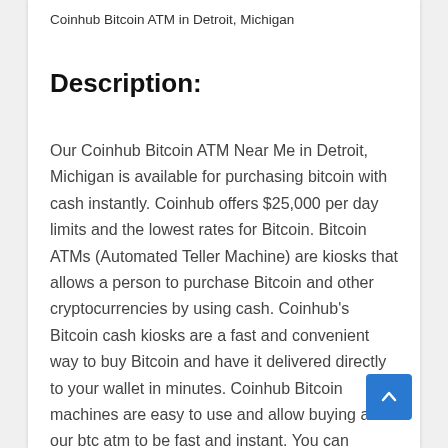Coinhub Bitcoin ATM in Detroit, Michigan
Description:
Our Coinhub Bitcoin ATM Near Me in Detroit, Michigan is available for purchasing bitcoin with cash instantly. Coinhub offers $25,000 per day limits and the lowest rates for Bitcoin. Bitcoin ATMs (Automated Teller Machine) are kiosks that allows a person to purchase Bitcoin and other cryptocurrencies by using cash. Coinhub's Bitcoin cash kiosks are a fast and convenient way to buy Bitcoin and have it delivered directly to your wallet in minutes. Coinhub Bitcoin machines are easy to use and allow buying at our btc atm to be fast and instant. You can purchase Bitcoin instantly from a Coinhub Bitcoin Machine located near you and receive it in minutes. You can purchase Bitcoin in less than 3 minutes, and you don't need an account